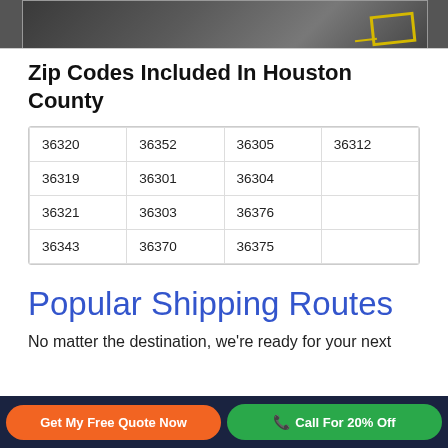[Figure (photo): Aerial or ground-level view of road markings on dark asphalt with yellow/white painted lines]
Zip Codes Included In Houston County
| 36320 | 36352 | 36305 | 36312 |
| 36319 | 36301 | 36304 |  |
| 36321 | 36303 | 36376 |  |
| 36343 | 36370 | 36375 |  |
Popular Shipping Routes
No matter the destination, we're ready for your next
Get My Free Quote Now
Call For 20% Off